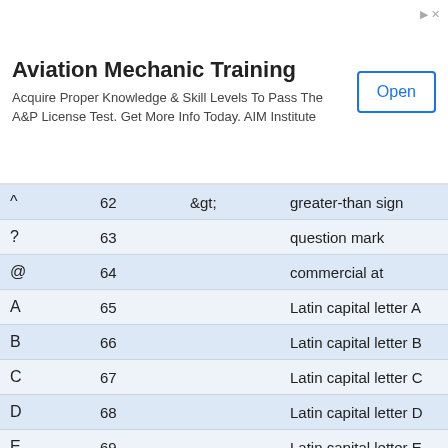[Figure (other): Advertisement banner for Aviation Mechanic Training by AIM Institute with an Open button]
| Char | Dec | HTML | Description |
| --- | --- | --- | --- |
| > | 62 | &gt; | greater-than sign |
| ? | 63 |  | question mark |
| @ | 64 |  | commercial at |
| A | 65 |  | Latin capital letter A |
| B | 66 |  | Latin capital letter B |
| C | 67 |  | Latin capital letter C |
| D | 68 |  | Latin capital letter D |
| E | 69 |  | Latin capital letter E |
| F | 70 |  | Latin capital letter F |
| G | 71 |  | Latin capital letter G |
| H | 72 |  | Latin capital letter H |
| I | 73 |  | Latin capital letter I |